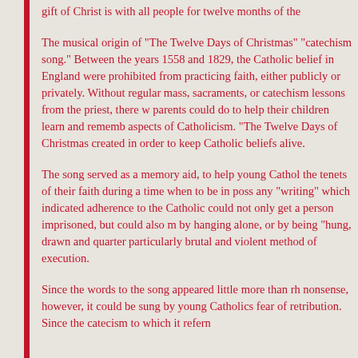gift of Christ is with all people for twelve months of the
The musical origin of "The Twelve Days of Christmas" "catechism song." Between the years 1558 and 1829, the Catholic belief in England were prohibited from practicing faith, either publicly or privately. Without regular mass, sacraments, or catechism lessons from the priest, there was parents could do to help their children learn and remember aspects of Catholicism. "The Twelve Days of Christmas" created in order to keep Catholic beliefs alive.
The song served as a memory aid, to help young Catholics the tenets of their faith during a time when to be in possession any "writing" which indicated adherence to the Catholic could not only get a person imprisoned, but could also mean by hanging alone, or by being "hung, drawn and quartered" particularly brutal and violent method of execution.
Since the words to the song appeared little more than rhyming nonsense, however, it could be sung by young Catholics without fear of retribution. Since the catecism to which it refers